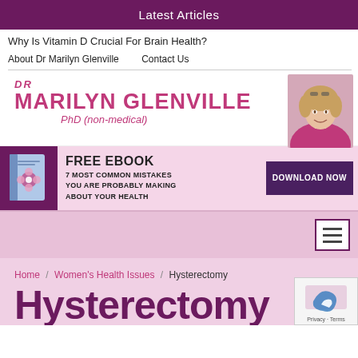Latest Articles
Why Is Vitamin D Crucial For Brain Health?
About Dr Marilyn Glenville   Contact Us
[Figure (logo): Dr Marilyn Glenville PhD (non-medical) logo with photo of a woman]
[Figure (infographic): FREE EBOOK banner: 7 Most Common Mistakes You Are Probably Making About Your Health. Download Now button.]
[Figure (other): Hamburger menu icon]
Home / Women's Health Issues / Hysterectomy
Hysterectomy